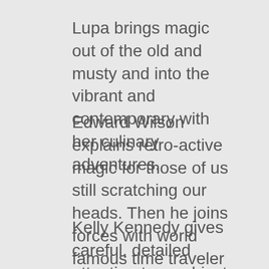Lupa brings magic out of the old and musty and into the vibrant and contemporary with her culinary adventures.
Edward Wilson explains retro-active magic for those of us still scratching our heads. Then he joins forces with world famous time traveler Wes Unruh to introduce you to the talismatic text.
Kelly Kennedy gives careful, detailed attention to a subject of much interest to contemporary occultists- building a literary pantheon.